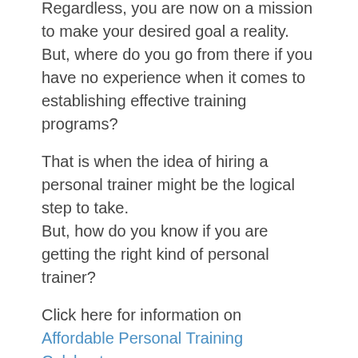Regardless, you are now on a mission to make your desired goal a reality. But, where do you go from there if you have no experience when it comes to establishing effective training programs?
That is when the idea of hiring a personal trainer might be the logical step to take.
But, how do you know if you are getting the right kind of personal trainer?
Click here for information on Affordable Personal Training Colchester.
Let's find out.
The following is a checklist of the important things that you should look for in a qualified personal trainer to make sure you are getting quality service.
1. Is your trainer a holder of a fitness related university